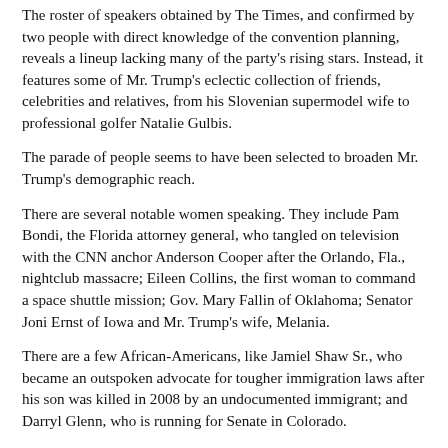The roster of speakers obtained by The Times, and confirmed by two people with direct knowledge of the convention planning, reveals a lineup lacking many of the party's rising stars. Instead, it features some of Mr. Trump's eclectic collection of friends, celebrities and relatives, from his Slovenian supermodel wife to professional golfer Natalie Gulbis.
The parade of people seems to have been selected to broaden Mr. Trump's demographic reach.
There are several notable women speaking. They include Pam Bondi, the Florida attorney general, who tangled on television with the CNN anchor Anderson Cooper after the Orlando, Fla., nightclub massacre; Eileen Collins, the first woman to command a space shuttle mission; Gov. Mary Fallin of Oklahoma; Senator Joni Ernst of Iowa and Mr. Trump's wife, Melania.
There are a few African-Americans, like Jamiel Shaw Sr., who became an outspoken advocate for tougher immigration laws after his son was killed in 2008 by an undocumented immigrant; and Darryl Glenn, who is running for Senate in Colorado.
From sports there is Mr. Tebow, the former quarterback and Heisman Trophy winner who is known for his conservative views; Dana White, the president of the Ultimate Fighting Championship, a mixed martial arts organization; and Ms.